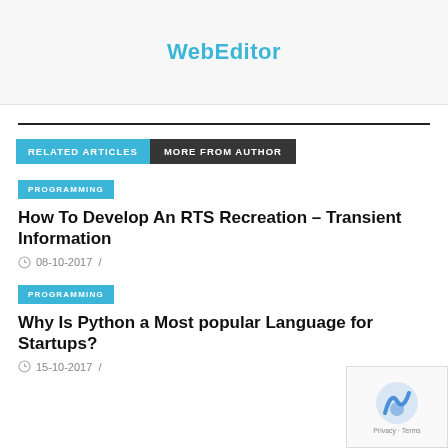WebEditor
RELATED ARTICLES   MORE FROM AUTHOR
PROGRAMMING
How To Develop An RTS Recreation – Transient Information
08-10-2017 /
PROGRAMMING
Why Is Python a Most popular Language for Startups?
15-10-2017 /